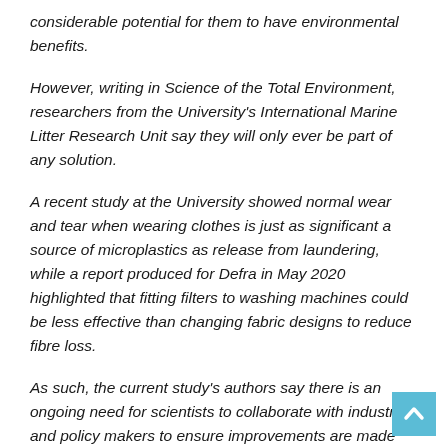considerable potential for them to have environmental benefits.
However, writing in Science of the Total Environment, researchers from the University's International Marine Litter Research Unit say they will only ever be part of any solution.
A recent study at the University showed normal wear and tear when wearing clothes is just as significant a source of microplastics as release from laundering, while a report produced for Defra in May 2020 highlighted that fitting filters to washing machines could be less effective than changing fabric designs to reduce fibre loss.
As such, the current study's authors say there is an ongoing need for scientists to collaborate with industry and policy makers to ensure improvements are made right from the design phase through to how clothes are washed.